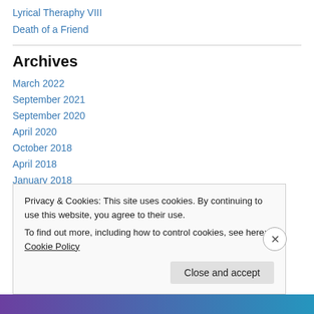Lyrical Theraphy VIII
Death of a Friend
Archives
March 2022
September 2021
September 2020
April 2020
October 2018
April 2018
January 2018
Privacy & Cookies: This site uses cookies. By continuing to use this website, you agree to their use.
To find out more, including how to control cookies, see here: Cookie Policy
Close and accept